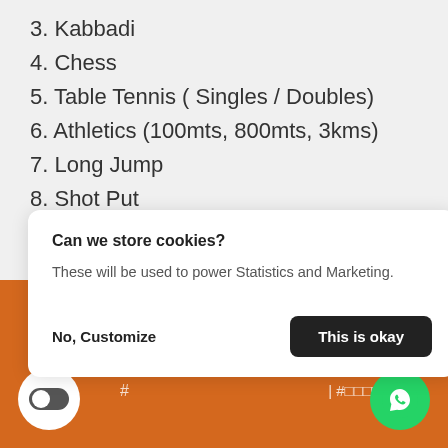3. Kabbadi
4. Chess
5. Table Tennis ( Singles / Doubles)
6. Athletics (100mts, 800mts, 3kms)
7. Long Jump
8. Shot Put
[Figure (screenshot): Cookie consent popup with title 'Can we store cookies?', body text 'These will be used to power Statistics and Marketing.', and two buttons: 'No, Customize' and 'This is okay']
[Figure (screenshot): Orange footer bar with toggle button, WhatsApp button, and hash/symbol text elements]